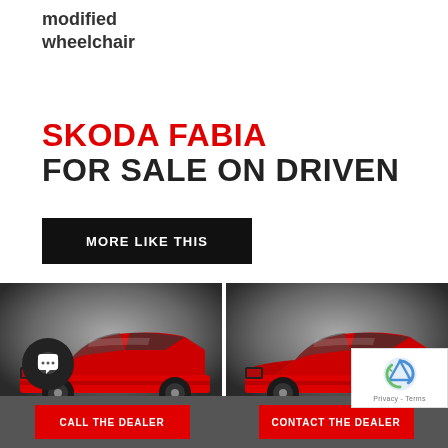modified wheelchair
SKODA FABIA FOR SALE ON DRIVEN
MORE LIKE THIS
[Figure (photo): Two red Skoda Fabia cars photographed from the side on a dark gradient background]
CALL THE DEALER
CONTACT THE DEALER